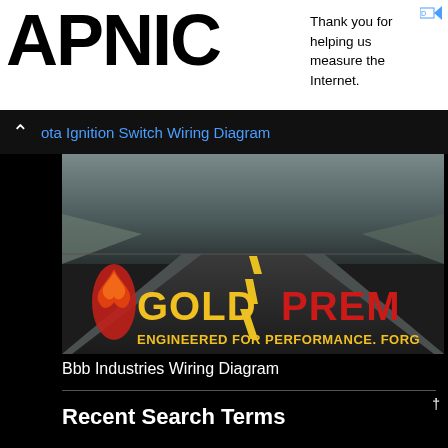[Figure (logo): APNIC logo in large bold black text on white background]
Thank you for helping us measure the Internet.
ota Ignition Switch Wiring Diagram
[Figure (photo): Gold Premium auto parts advertisement showing a road vanishing into the distance with GOLDPREM logo and tagline ENGINEERED FOR PERFORMANCE. FORG...]
Bbb Industries Wiring Diagram
Recent Search Terms